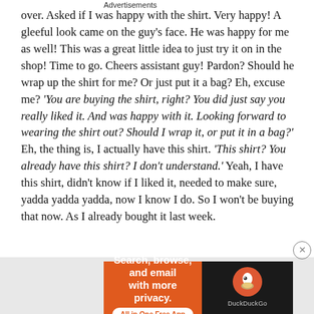over. Asked if I was happy with the shirt. Very happy! A gleeful look came on the guy's face. He was happy for me as well! This was a great little idea to just try it on in the shop! Time to go. Cheers assistant guy! Pardon? Should he wrap up the shirt for me? Or just put it a bag? Eh, excuse me? 'You are buying the shirt, right? You did just say you really liked it. And was happy with it. Looking forward to wearing the shirt out? Should I wrap it, or put it in a bag?' Eh, the thing is, I actually have this shirt. 'This shirt? You already have this shirt? I don't understand.' Yeah, I have this shirt, didn't know if I liked it, needed to make sure, yadda yadda yadda, now I know I do. So I won't be buying that now. As I already bought it last week.
Advertisements
[Figure (infographic): DuckDuckGo advertisement banner: orange left panel with text 'Search, browse, and email with more privacy. All in One Free App' and a dark right panel with DuckDuckGo logo and name.]